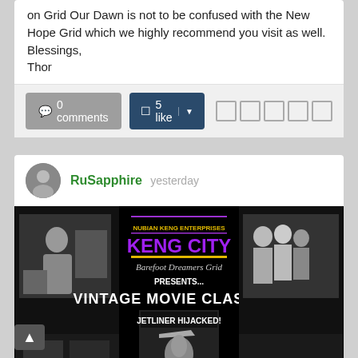on Grid Our Dawn is not to be confused with the New Hope Grid which we highly recommend you visit as well.
Blessings,
Thor
0 comments  5 like
RuSapphire  yesterday
[Figure (photo): Movie poster image with dark background showing 'NUBIAN KENG ENTERPRISES KENG CITY Barefoot Dreamers Grid PRESENTS... VINTAGE MOVIE CLASSIC'S JETLINER HIJACKED!' text with black and white film stills]